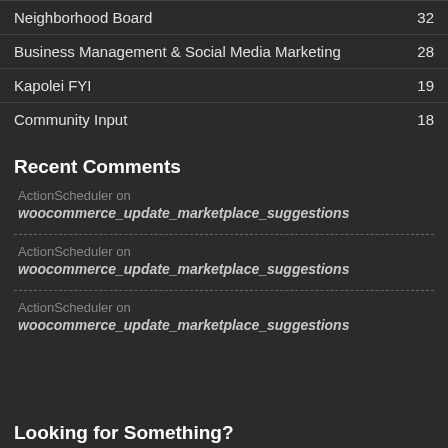Neighborhood Board 32
Business Management & Social Media Marketing 28
Kapolei FYI 19
Community Input 18
Recent Comments
ActionScheduler on
woocommerce_update_marketplace_suggestions
ActionScheduler on
woocommerce_update_marketplace_suggestions
ActionScheduler on
woocommerce_update_marketplace_suggestions
Looking for Something?